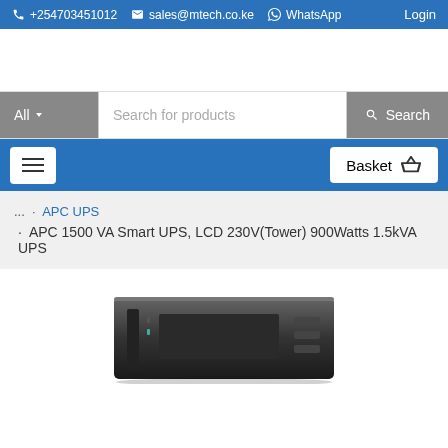📞 +254703451012  ✉ sales@mtech.co.ke  WhatsApp  Login
[Figure (screenshot): Search bar with All dropdown, Search for products input field, and Search button]
[Figure (screenshot): Navigation bar with hamburger menu button on left and Basket button on right]
... · APC UPS · APC 1500 VA Smart UPS, LCD 230V(Tower) 900Watts 1.5kVA UPS
[Figure (photo): APC 1500 VA Smart UPS device, black rectangular tower form factor, partially visible at bottom of page]